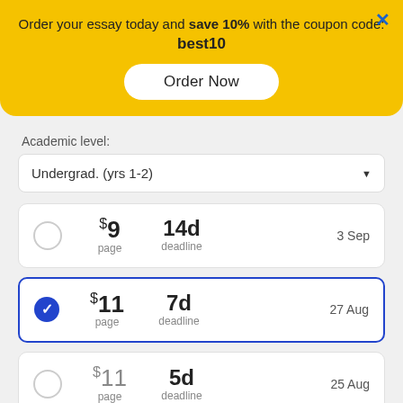Order your essay today and save 10% with the coupon code: best10
[Figure (screenshot): Order Now button on yellow promotional banner]
Academic level:
Undergrad. (yrs 1-2)
$9 page | 14d deadline | 3 Sep
$11 page | 7d deadline | 27 Aug (selected)
$11 page | 5d deadline | 25 Aug